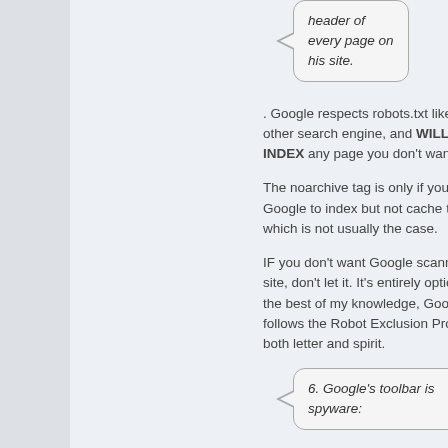[Figure (other): Speech bubble containing italic text: 'header of every page on his site.']
. Google respects robots.txt like most other search engine, and WILL NOT INDEX any page you don't want it to.
The noarchive tag is only if you want Google to index but not cache the page, which is not usually the case.
IF you don't want Google scanning your site, don't let it. It's entirely optional. To the best of my knowledge, Googlebot follows the Robot Exclusion Protocol in both letter and spirit.
[Figure (other): Speech bubble containing italic text: '6. Google's toolbar is spyware:']
Since when did anyone FORCE YOU to use Goo...